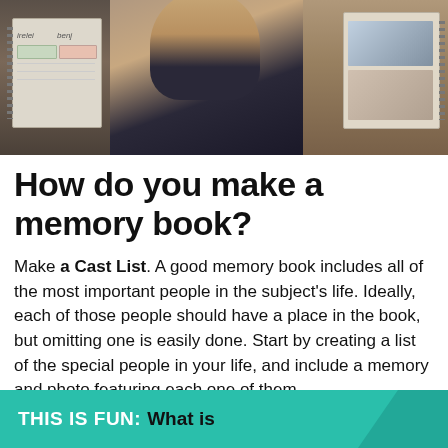[Figure (photo): Photo collage showing people holding spiral-bound memory/scrapbooks, with notebook labels 'irelei' and 'benj' visible]
How do you make a memory book?
Make a Cast List. A good memory book includes all of the most important people in the subject's life. Ideally, each of those people should have a place in the book, but omitting one is easily done. Start by creating a list of the special people in your life, and include a memory and photo featuring each one of them.
THIS IS FUN: What is